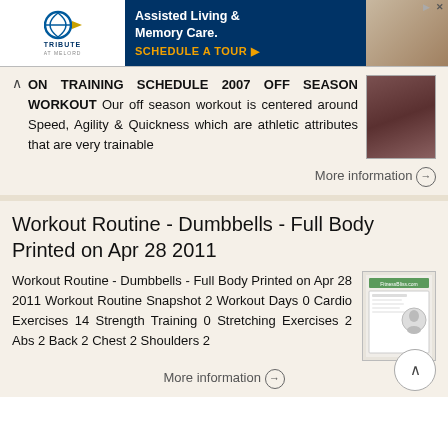[Figure (other): Tribute at Melford advertisement for Assisted Living & Memory Care with logo and photo of elderly person]
ON TRAINING SCHEDULE 2007 OFF SEASON WORKOUT Our off season workout is centered around Speed, Agility & Quickness which are athletic attributes that are very trainable
[Figure (photo): Photo of athletes or sports team]
More information →
Workout Routine - Dumbbells - Full Body Printed on Apr 28 2011
Workout Routine - Dumbbells - Full Body Printed on Apr 28 2011 Workout Routine Snapshot 2 Workout Days 0 Cardio Exercises 14 Strength Training 0 Stretching Exercises 2 Abs 2 Back 2 Chest 2 Shoulders 2
[Figure (photo): Small thumbnail of workout routine document]
More information →